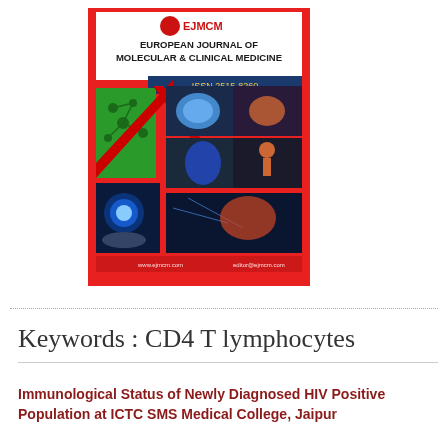[Figure (illustration): Cover of European Journal of Molecular & Clinical Medicine (EJMCM), ISSN 2515-8260, showing a red background with hexagonal panels containing scientific/medical imagery including brain scans, molecular structures, human anatomy, and glowing objects.]
Keywords : CD4 T lymphocytes
Immunological Status of Newly Diagnosed HIV Positive Population at ICTC SMS Medical College, Jaipur